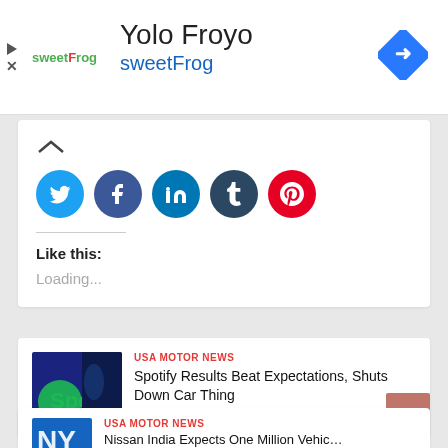[Figure (logo): sweetFrog logo with green/red text]
Yolo Froyo
sweetFrog
[Figure (illustration): Blue diamond navigation arrow icon]
[Figure (illustration): Social sharing buttons: Twitter, Facebook, LinkedIn, Tumblr, Pinterest]
Like this:
Loading...
USA MOTOR NEWS
Spotify Results Beat Expectations, Shuts Down Car Thing
July 29, 2022/
USA MOTOR NEWS